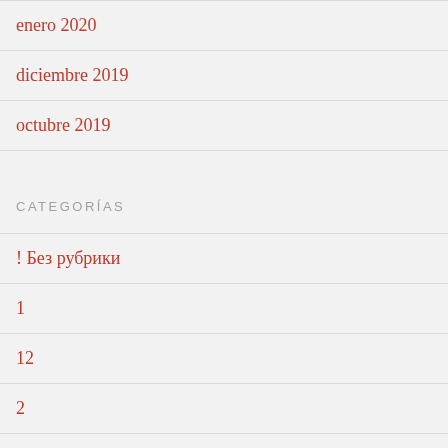enero 2020
diciembre 2019
octubre 2019
CATEGORÍAS
! Без рубрики
1
12
2
3
adult chat